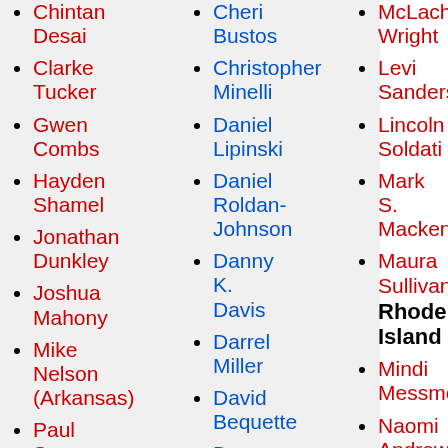Chintan Desai
Clarke Tucker
Gwen Combs
Hayden Shamel
Jonathan Dunkley
Joshua Mahony
Mike Nelson (Arkansas)
Paul Spencer (Arkansas)
Richard Davis
Cheri Bustos
Christopher Minelli
Daniel Lipinski
Daniel Roldan-Johnson
Danny K. Davis
Darrel Miller
David Bequette
Dean Pruitt
Demond Drummer
McLachern Wright
Levi Sanders
Lincoln Soldati
Mark S. Mackenzie
Maura Sullivan
Mindi Messmer
Naomi Andrews
Paul Cardinal
Terence O'Rourke
William Martin
Rhode Island
Christopher Young
David Cicilline
Jim Langevin
South Carolina
Annabe...
Tom Prigg
Wade Jodun
Willie Singleton